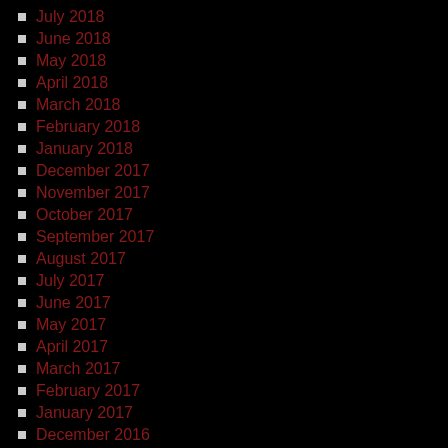July 2018
June 2018
May 2018
April 2018
March 2018
February 2018
January 2018
December 2017
November 2017
October 2017
September 2017
August 2017
July 2017
June 2017
May 2017
April 2017
March 2017
February 2017
January 2017
December 2016
November 2016
October 2016
September 2016